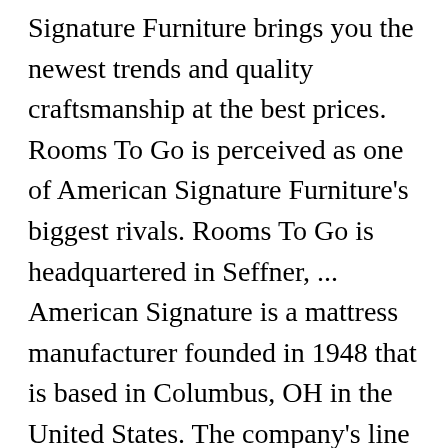Signature Furniture brings you the newest trends and quality craftsmanship at the best prices. Rooms To Go is perceived as one of American Signature Furniture's biggest rivals. Rooms To Go is headquartered in Seffner, ... American Signature is a mattress manufacturer founded in 1948 that is based in Columbus, OH in the United States. The company's line of business includes the retail sale of household furniture. Such a huge selection I didn't know where to start!! Hope everyone enjoys, til next time bye Get directions, reviews and information for American Signature Furniture in Tampa, FL. American Signature Furniture 3080 Alum Creek Dr Columbus OH 43207. Recent